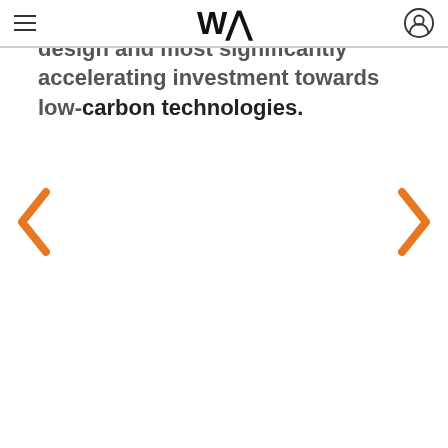W (logo), hamburger menu, user icon
using a combination of integrated design and most significantly accelerating investment towards low-carbon technologies.
[Figure (other): Left navigation chevron arrow in orange]
[Figure (other): Right navigation chevron arrow in orange]